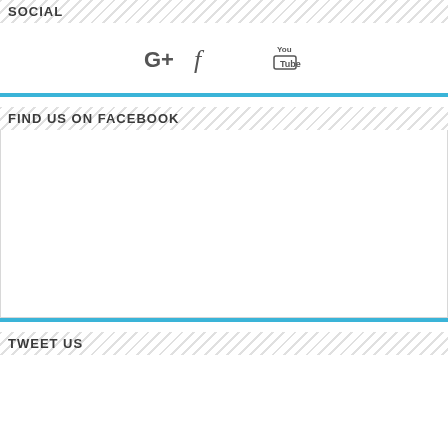SOCIAL
[Figure (infographic): Social media icons: Google+, Facebook, Twitter, YouTube]
FIND US ON FACEBOOK
[Figure (other): Facebook embedded widget area (blank/loading)]
TWEET US